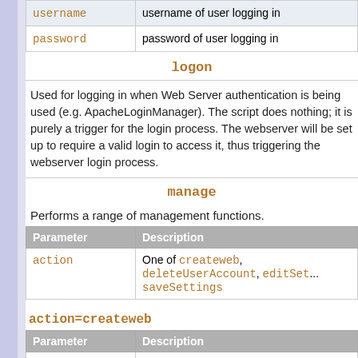| username | username of user logging in |
| password | password of user logging in |
logon
Used for logging in when Web Server authentication is being used (e.g. ApacheLoginManager). The script does nothing; it is purely a trigger for the login process. The webserver will be set up to require a valid login to access it, thus triggering the webserver login process.
manage
Performs a range of management functions.
| Parameter | Description |
| --- | --- |
| action | One of createweb, deleteUserAccount, editSett...
saveSettings |
action=createweb
| Parameter | Description |
| --- | --- |